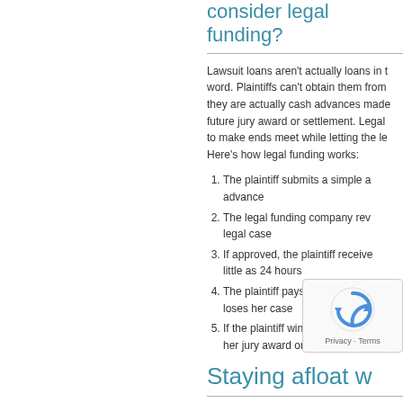consider legal funding?
Lawsuit loans aren't actually loans in the traditional word. Plaintiffs can't obtain them from they are actually cash advances made future jury award or settlement. Legal to make ends meet while letting the le Here's how legal funding works:
The plaintiff submits a simple a advance
The legal funding company rev legal case
If approved, the plaintiff receive little as 24 hours
The plaintiff pays the legal fun loses her case
If the plaintiff wins, she pays th her jury award or settlement, p
Staying afloat w
One of the major advantages of legal